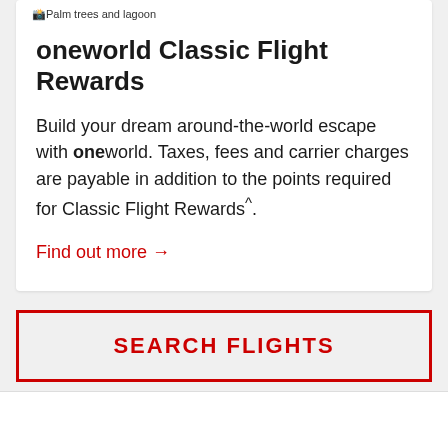[Figure (photo): Palm trees and lagoon image placeholder shown as broken image icon with alt text]
oneworld Classic Flight Rewards
Build your dream around-the-world escape with oneworld. Taxes, fees and carrier charges are payable in addition to the points required for Classic Flight Rewards^.
Find out more →
SEARCH FLIGHTS